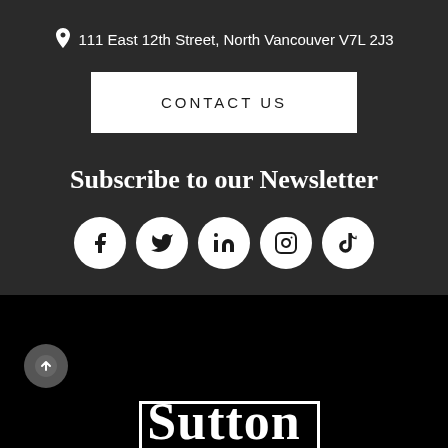📍 111 East 12th Street, North Vancouver V7L 2J3
CONTACT US
Subscribe to our Newsletter
[Figure (infographic): Five social media icons in white circles: Facebook, Twitter, LinkedIn, Instagram, TikTok]
[Figure (logo): Sutton logo in white text with a rectangle border on black background]
[Figure (other): Back to top arrow button, circular grey icon]